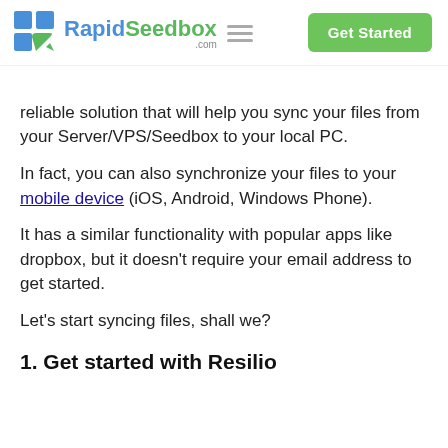RapidSeedbox.com — Get Started
reliable solution that will help you sync your files from your Server/VPS/Seedbox to your local PC.
In fact, you can also synchronize your files to your mobile device (iOS, Android, Windows Phone).
It has a similar functionality with popular apps like dropbox, but it doesn't require your email address to get started.
Let's start syncing files, shall we?
1. Get started with Resilio